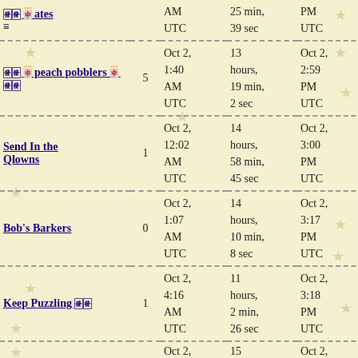| Name | Count | Start | Duration | End |
| --- | --- | --- | --- | --- |
| 🀅🀅🀄ates ≡ |  | AM UTC | 25 min, 39 sec | PM UTC |
| 🀅🀅🀄peach pobblers🀄 🀅🀅 | 5 | Oct 2, 1:40 AM UTC | 13 hours, 19 min, 2 sec | Oct 2, 2:59 PM UTC |
| Send In the Qlowns | 1 | Oct 2, 12:02 AM UTC | 14 hours, 58 min, 45 sec | Oct 2, 3:00 PM UTC |
| Bob's Barkers | 0 | Oct 2, 1:07 AM UTC | 14 hours, 10 min, 8 sec | Oct 2, 3:17 PM UTC |
| Keep Puzzling 🀅🀅 | 1 | Oct 2, 4:16 AM UTC | 11 hours, 2 min, 26 sec | Oct 2, 3:18 PM UTC |
|  |  | Oct 2, | 15 | Oct 2, |